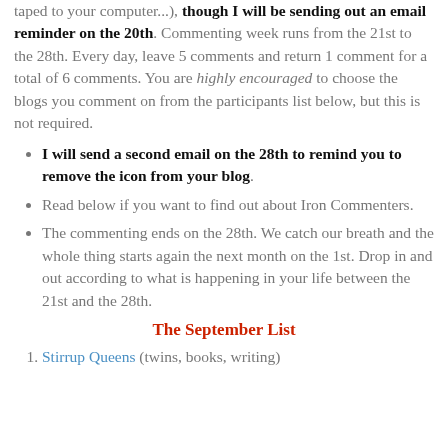taped to your computer...), though I will be sending out an email reminder on the 20th. Commenting week runs from the 21st to the 28th. Every day, leave 5 comments and return 1 comment for a total of 6 comments. You are highly encouraged to choose the blogs you comment on from the participants list below, but this is not required.
I will send a second email on the 28th to remind you to remove the icon from your blog.
Read below if you want to find out about Iron Commenters.
The commenting ends on the 28th. We catch our breath and the whole thing starts again the next month on the 1st. Drop in and out according to what is happening in your life between the 21st and the 28th.
The September List
Stirrup Queens (twins, books, writing)